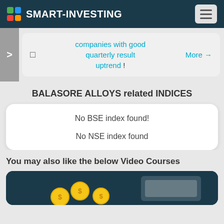SMART-INVESTING
companies with good quarterly result uptrend ! More →
BALASORE ALLOYS related INDICES
No BSE index found!
No NSE index found
You may also like the below Video Courses
[Figure (illustration): Thumbnail for a video course showing coins and financial graphics on a dark teal background]